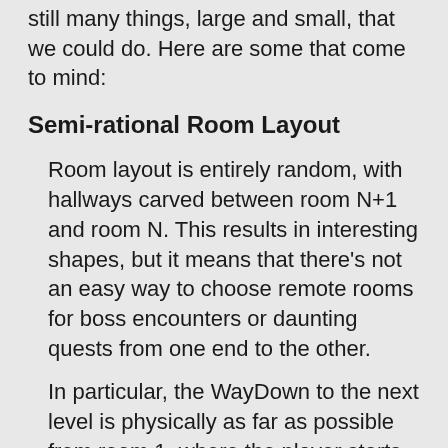still many things, large and small, that we could do. Here are some that come to mind:
Semi-rational Room Layout
Room layout is entirely random, with hallways carved between room N+1 and room N. This results in interesting shapes, but it means that there’s not an easy way to choose remote rooms for boss encounters or daunting quests from one end to the other.
In particular, the WayDown to the next level is physically as far as possible from room 1, where the player starts,